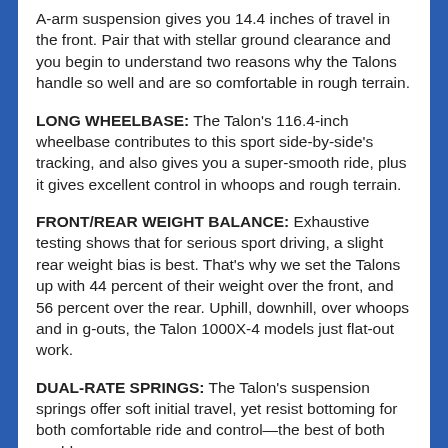A-arm suspension gives you 14.4 inches of travel in the front. Pair that with stellar ground clearance and you begin to understand two reasons why the Talons handle so well and are so comfortable in rough terrain.
LONG WHEELBASE: The Talon's 116.4-inch wheelbase contributes to this sport side-by-side's tracking, and also gives you a super-smooth ride, plus it gives excellent control in whoops and rough terrain.
FRONT/REAR WEIGHT BALANCE: Exhaustive testing shows that for serious sport driving, a slight rear weight bias is best. That's why we set the Talons up with 44 percent of their weight over the front, and 56 percent over the rear. Uphill, downhill, over whoops and in g-outs, the Talon 1000X-4 models just flat-out work.
DUAL-RATE SPRINGS: The Talon's suspension springs offer soft initial travel, yet resist bottoming for both comfortable ride and control—the best of both worlds.